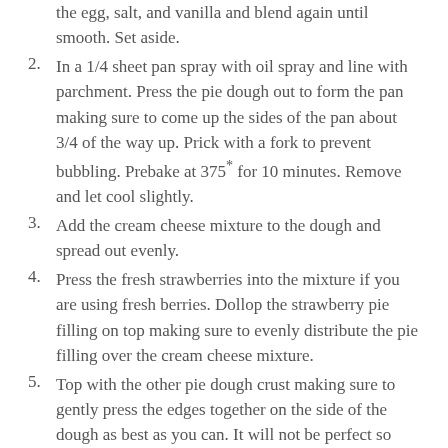the egg, salt, and vanilla and blend again until smooth. Set aside.
2. In a 1/4 sheet pan spray with oil spray and line with parchment. Press the pie dough out to form the pan making sure to come up the sides of the pan about 3/4 of the way up. Prick with a fork to prevent bubbling. Prebake at 375* for 10 minutes. Remove and let cool slightly.
3. Add the cream cheese mixture to the dough and spread out evenly.
4. Press the fresh strawberries into the mixture if you are using fresh berries. Dollop the strawberry pie filling on top making sure to evenly distribute the pie filling over the cream cheese mixture.
5. Top with the other pie dough crust making sure to gently press the edges together on the side of the dough as best as you can. It will not be perfect so